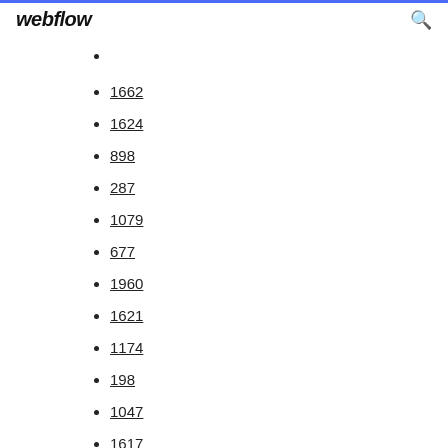webflow
1662
1624
898
287
1079
677
1960
1621
1174
198
1047
1617